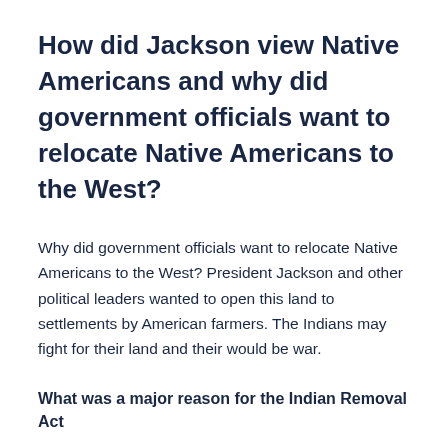How did Jackson view Native Americans and why did government officials want to relocate Native Americans to the West?
Why did government officials want to relocate Native Americans to the West? President Jackson and other political leaders wanted to open this land to settlements by American farmers. The Indians may fight for their land and their would be war.
What was a major reason for the Indian Removal Act